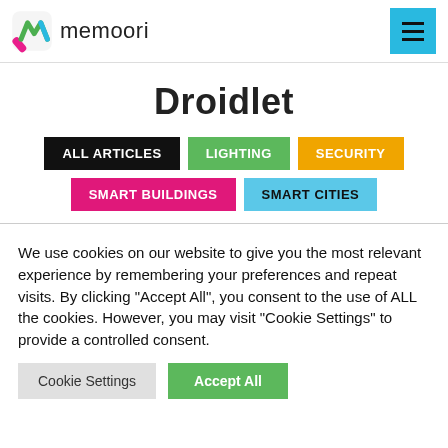memoori
Droidlet
ALL ARTICLES
LIGHTING
SECURITY
SMART BUILDINGS
SMART CITIES
We use cookies on our website to give you the most relevant experience by remembering your preferences and repeat visits. By clicking "Accept All", you consent to the use of ALL the cookies. However, you may visit "Cookie Settings" to provide a controlled consent.
Cookie Settings | Accept All